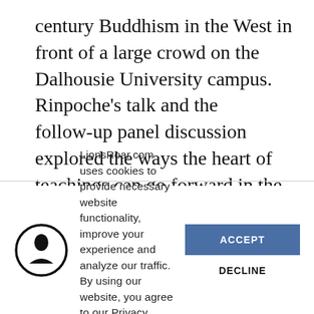century Buddhism in the West in front of a large crowd on the Dalhousie University campus. Rinpoche's talk and the follow-up panel discussion explored the ways the heart of teachings can go forward in the West free of the cultural trappings of the home countries in Asian.
LionsRoar.com uses cookies to provide necessary website functionality, improve your experience and analyze our traffic. By using our website, you agree to our Privacy Policy and our cookies usage.
ACCEPT
DECLINE